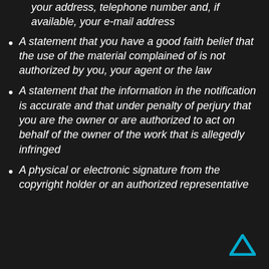your address, telephone number and, if available, your e-mail address
A statement that you have a good faith belief that the use of the material complained of is not authorized by you, your agent or the law
A statement that the information in the notification is accurate and that under penalty of perjury that you are the owner or are authorized to act on behalf of the owner of the work that is allegedly infringed
A physical or electronic signature from the copyright holder or an authorized representative